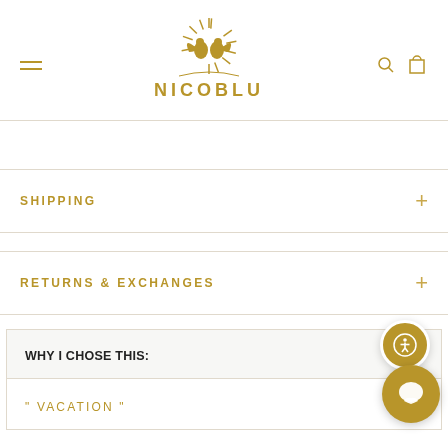[Figure (logo): NICOBLU brand logo with two eagles and sunburst design in gold, with text NICOBLU below]
SHIPPING
RETURNS & EXCHANGES
WHY I CHOSE THIS:
" VACATION "